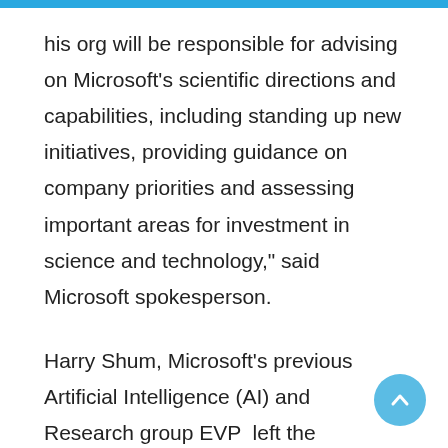his org will be responsible for advising on Microsoft's scientific directions and capabilities, including standing up new initiatives, providing guidance on company priorities and assessing important areas for investment in science and technology," said Microsoft spokesperson.
Harry Shum, Microsoft's previous Artificial Intelligence (AI) and Research group EVP  left the company last month. Kevin Scott, executive vice president and chief technology officer assumed his responsibilities. Even after leaving the company, Harry Shum continues as an advisor to Microsoft CEO Satya Nadella and Bill